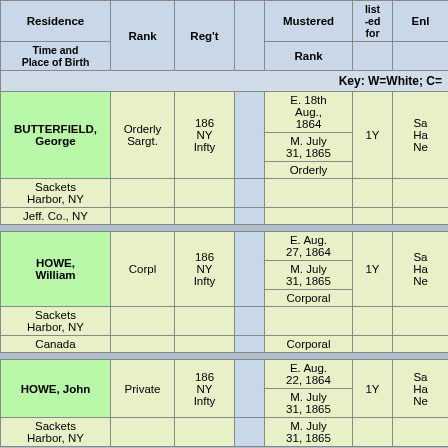| Residence / Time and Place of Birth | Rank | Reg't |  | Mustered / Rank | list-ed for | Enl |
| --- | --- | --- | --- | --- | --- | --- |
| BUTTERFIELD, George | Orderly Sargt. | 186 NY Infty |  | E. 18th Aug., 1864 / M. July 31, 1865 / Orderly | 1Y | Sa Ha Ne |
| Sackets Harbor, NY |  |  |  |  |  |  |
| Jeff. Co., NY |  |  |  |  |  |  |
| HOWE, William | Corpl | 186 NY Infty |  | E. Aug. 27, 1864 / M. July 31, 1865 / Corporal | 1Y | Sa Ha Ne |
| Sackets Harbor, NY |  |  |  |  |  |  |
| Canada |  |  |  |  |  |  |
| HOWE, John | Private | 186 NY Infty |  | E. Aug. 22, 1864 / M. July 31, 1865 | 1Y | Sa Ha Ne |
| Sackets Harbor, NY |  |  |  |  |  |  |
Key: W=White; C=